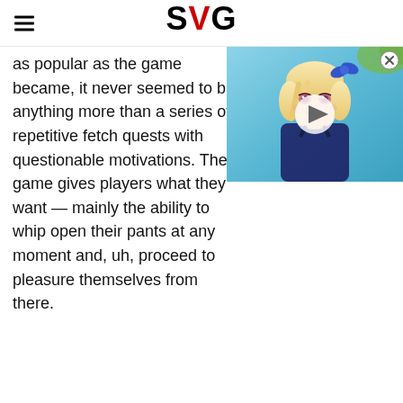SVG
as popular as the game became, it never seemed to be anything more than a series of repetitive fetch quests with questionable motivations. The game gives players what they want — mainly the ability to whip open their pants at any moment and, uh, proceed to pleasure themselves from there.
[Figure (screenshot): Video player overlay showing an anime-style blonde female character with a blue ribbon, in a beach/pool setting. A circular play button is visible in the center of the video thumbnail.]